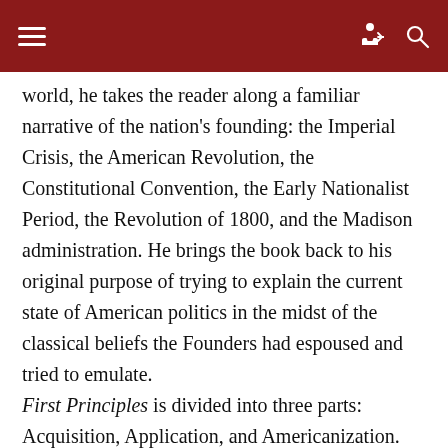world, he takes the reader along a familiar narrative of the nation's founding: the Imperial Crisis, the American Revolution, the Constitutional Convention, the Early Nationalist Period, the Revolution of 1800, and the Madison administration. He brings the book back to his original purpose of trying to explain the current state of American politics in the midst of the classical beliefs the Founders had espoused and tried to emulate.
First Principles is divided into three parts: Acquisition, Application, and Americanization. Acquisition describes how each of the Founders received his classical education. Most of the Founders were familiar with texts by Livy, Sallus, Plutarch, Tacitus, Cicero, Aristotle, and Plato. Washington was unique among the four men because he was not a